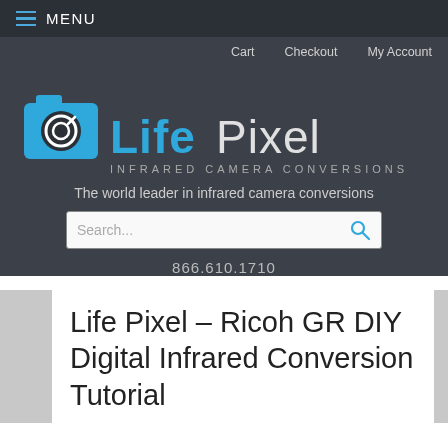MENU
Cart   Checkout   My Account
[Figure (logo): Life Pixel Infrared Camera Conversions logo with camera icon and blue/white text]
The world leader in infrared camera conversions
Search...
866.610.1710
Life Pixel – Ricoh GR DIY Digital Infrared Conversion Tutorial